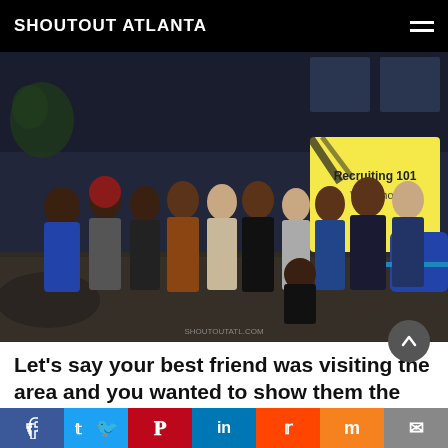SHOUTOUT ATLANTA
[Figure (photo): Group photo of approximately 10 people standing in front of a 'Recruiting 101 Workshop' banner in a dimly lit room with carpeted floors and modern furniture.]
Let’s say your best friend was visiting the area and you wanted to show them the best time ever. Where would you take them? Give us a